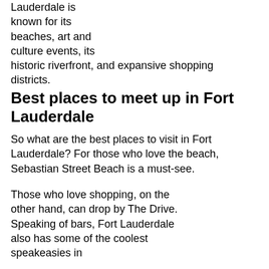Lauderdale is known for its beaches, art and culture events, its historic riverfront, and expansive shopping districts.
Best places to meet up in Fort Lauderdale
So what are the best places to visit in Fort Lauderdale? For those who love the beach, Sebastian Street Beach is a must-see.
Those who love shopping, on the other hand, can drop by The Drive. Speaking of bars, Fort Lauderdale also has some of the coolest speakeasies in